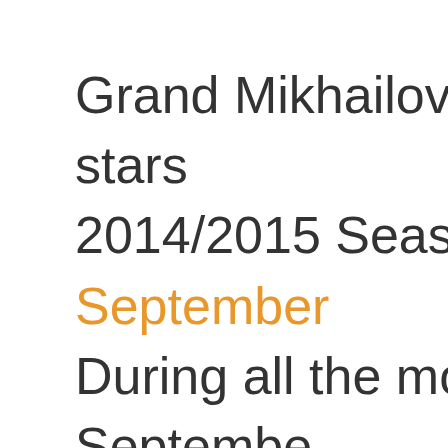Grand Mikhailovsky Theatre stars 2014/2015 Season on September During all the month of September best classical ballets will be staged jewels of the classical Russian Ba Lake" and "Sleeping Beauty" by P Tchaikovsky; world ballet classics by Adolphe Adam and "Don Quixo